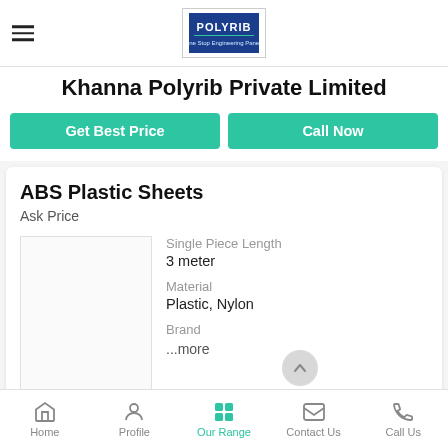[Figure (logo): Polyrib company logo in blue and white inside a bordered box]
Khanna Polyrib Private Limited
Get Best Price
Call Now
ABS Plastic Sheets
Ask Price
Single Piece Length
3 meter
Material
Plastic, Nylon
Brand
...more
Home | Profile | Our Range | Contact Us | Call Us